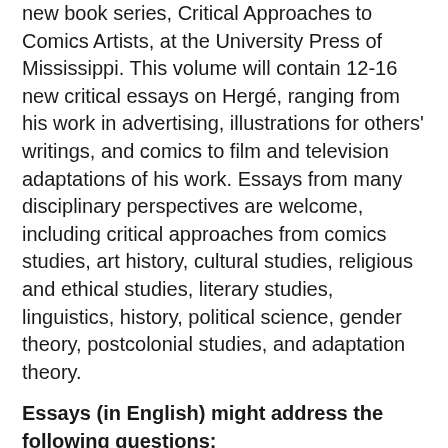new book series, Critical Approaches to Comics Artists, at the University Press of Mississippi. This volume will contain 12-16 new critical essays on Hergé, ranging from his work in advertising, illustrations for others' writings, and comics to film and television adaptations of his work. Essays from many disciplinary perspectives are welcome, including critical approaches from comics studies, art history, cultural studies, religious and ethical studies, literary studies, linguistics, history, political science, gender theory, postcolonial studies, and adaptation theory.
Essays (in English) might address the following questions:
• What important connections can be made between Hergé's non-comics work–for example, his illustrations for Léon Degrelle and his work in advertising–and the work for which he became famous?
• Although analysis of Hergé's work has focused almost exclusively on Tintin, how would our